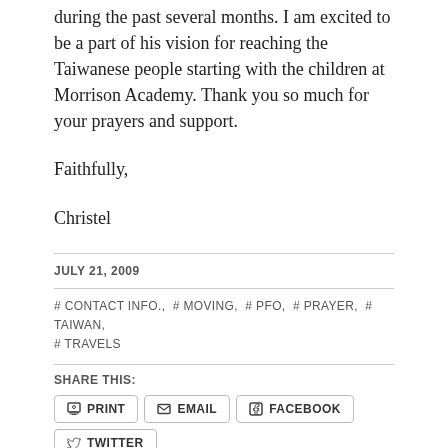during the past several months.  I am excited to be a part of his vision for reaching the Taiwanese people starting with the children at Morrison Academy.  Thank you so much for your prayers and support.
Faithfully,
Christel
JULY 21, 2009
# CONTACT INFO., # MOVING, # PFO, # PRAYER, # TAIWAN, # TRAVELS
SHARE THIS:
PRINT
EMAIL
FACEBOOK
TWITTER
MORE
LIKE THIS: